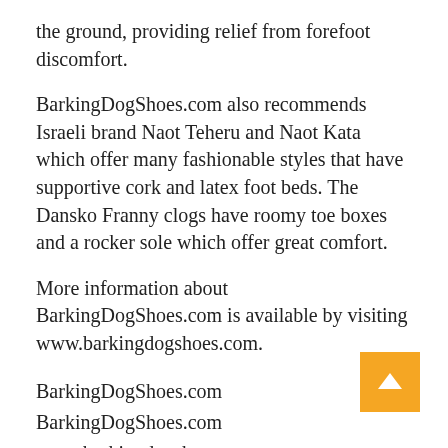the ground, providing relief from forefoot discomfort.
BarkingDogShoes.com also recommends Israeli brand Naot Teheru and Naot Kata which offer many fashionable styles that have supportive cork and latex foot beds. The Dansko Franny clogs have roomy toe boxes and a rocker sole which offer great comfort.
More information about BarkingDogShoes.com is available by visiting www.barkingdogshoes.com.
BarkingDogShoes.com
BarkingDogShoes.com
www.barkingdogshoes.com
chris@borink.com
+1-630-935-0281
1495 S. Golden Blvd...